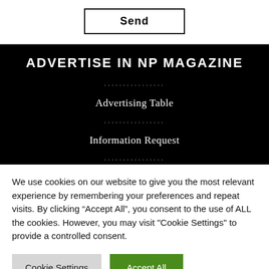Send
ADVERTISE IN NP MAGAZINE
................
Advertising Table
................
Information Request
................
We use cookies on our website to give you the most relevant experience by remembering your preferences and repeat visits. By clicking “Accept All”, you consent to the use of ALL the cookies. However, you may visit "Cookie Settings" to provide a controlled consent.
Cookie Settings
Accept All